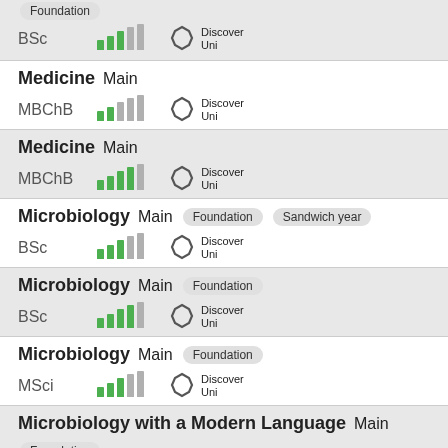Foundation
BSc
[Figure (other): Signal bar chart icon (3 green, 2 gray)]
[Figure (logo): Discover Uni logo]
Medicine Main
MBChB
[Figure (other): Signal bar chart icon (2 green, 2 gray)]
[Figure (logo): Discover Uni logo]
Medicine Main
MBChB
[Figure (other): Signal bar chart icon (4 green, 1 gray)]
[Figure (logo): Discover Uni logo]
Microbiology Main Foundation Sandwich year
BSc
[Figure (other): Signal bar chart icon (3 green, 2 gray)]
[Figure (logo): Discover Uni logo]
Microbiology Main Foundation
BSc
[Figure (other): Signal bar chart icon (4 green, 1 gray)]
[Figure (logo): Discover Uni logo]
Microbiology Main Foundation
MSci
[Figure (other): Signal bar chart icon (3 green, 2 gray)]
[Figure (logo): Discover Uni logo]
Microbiology with a Modern Language Main Foundation